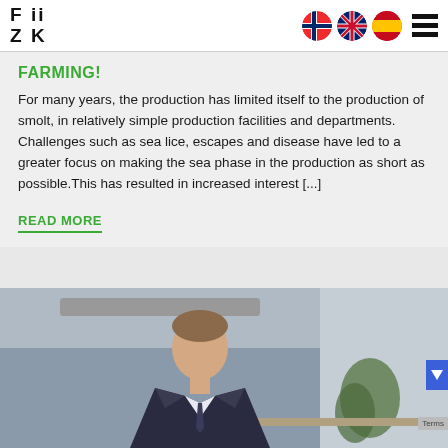FiiZK logo with navigation flags (Norwegian, UK, Spanish) and hamburger menu
FARMING!
For many years, the production has limited itself to the production of smolt, in relatively simple production facilities and departments. Challenges such as sea lice, escapes and disease have led to a greater focus on making the sea phase in the production as short as possible.This has resulted in increased interest [...]
READ MORE
[Figure (photo): Photo of a man in a suit, indoor office/corporate setting with plants in the background]